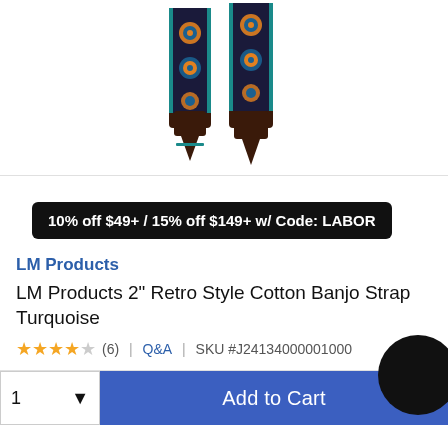[Figure (photo): Product photo of LM Products 2-inch Retro Style Cotton Banjo Strap in Turquoise, showing two views of the strap with decorative embroidered pattern on dark background.]
10% off $49+ / 15% off $149+ w/ Code: LABOR
LM Products
LM Products 2" Retro Style Cotton Banjo Strap Turquoise
★★★★☆ (6) | Q&A | SKU #J24134000001000
1 ▾  Add to Cart